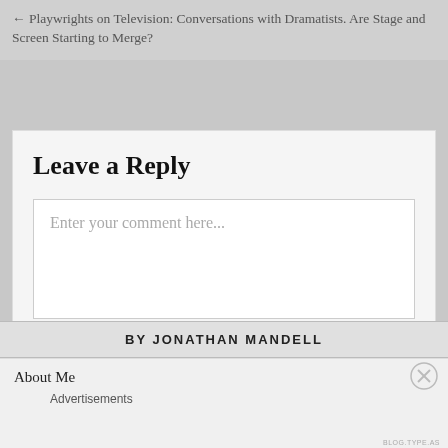← Playwrights on Television: Conversations with Dramatists. Are Stage and Screen Starting to Merge?
Leave a Reply
Enter your comment here...
BY JONATHAN MANDELL
About Me
Advertisements